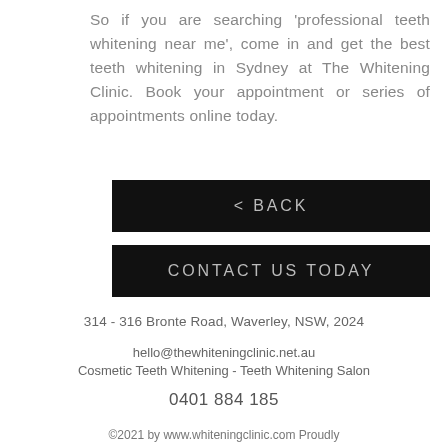So if you are searching 'professional teeth whitening near me', come in and get the best teeth whitening in Sydney at The Whitening Clinic. Book your appointment or series of appointments online today.
< BACK
CONTACT US TODAY
314 - 316 Bronte Road, Waverley, NSW, 2024
hello@thewhiteningclinic.net.au
Cosmetic Teeth Whitening - Teeth Whitening Salon
0401 884 185
©2021 by www.whiteningclinic.com Proudly